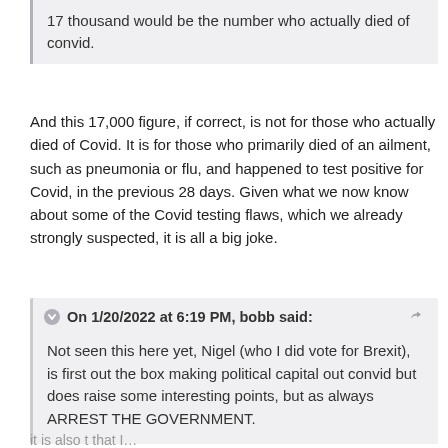17 thousand would be the number who actually died of convid.
And this 17,000 figure, if correct, is not for those who actually died of Covid. It is for those who primarily died of an ailment, such as pneumonia or flu, and happened to test positive for Covid, in the previous 28 days. Given what we now know about some of the Covid testing flaws, which we already strongly suspected, it is all a big joke.
On 1/20/2022 at 6:19 PM, bobb said:
Not seen this here yet, Nigel (who I did vote for Brexit), is first out the box making political capital out convid but does raise some interesting points, but as always ARREST THE GOVERNMENT.